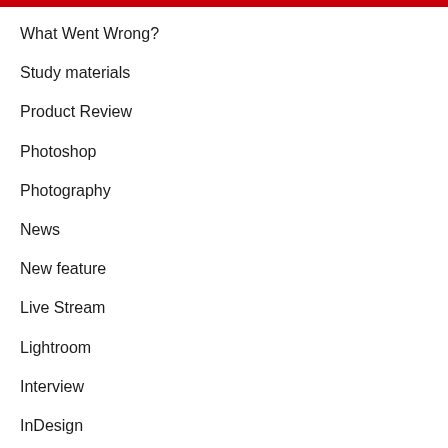What Went Wrong?
Study materials
Product Review
Photoshop
Photography
News
New feature
Live Stream
Lightroom
Interview
InDesign
Illustrator
How to Become a Designer